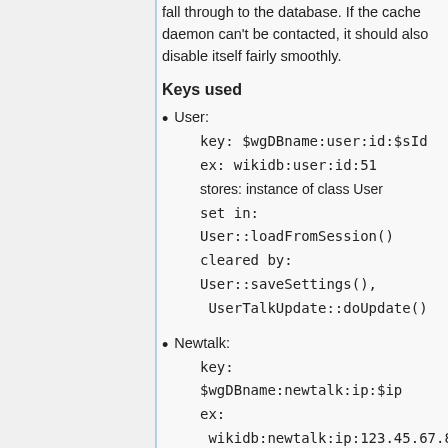fall through to the database. If the cache daemon can't be contacted, it should also disable itself fairly smoothly.
Keys used
User:
  key: $wgDBname:user:id:$sId
  ex: wikidb:user:id:51
  stores: instance of class User
  set in: User::loadFromSession()
  cleared by: User::saveSettings(), UserTalkUpdate::doUpdate()
Newtalk:
  key: $wgDBname:newtalk:ip:$ip
  ex: wikidb:newtalk:ip:123.45.67.89
  stores: integer, 0 or 1
  set in: User::loadFromDatabase()
  cleared by: User::saveSettings()
  #2